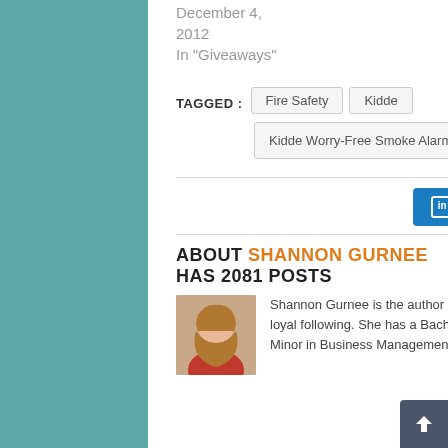December 4, 2012
In "Giveaways"
TAGGED : Fire Safety | Kidde | Kidde Worry-Free Smoke Alarm
[Figure (other): LinkedIn Share button and Twitter Tweet button]
ABOUT SHANNON GURNEE HAS 2081 POSTS
[Figure (photo): Author photo of Shannon Gurnee, a woman with red/blonde hair wearing a red top]
Shannon Gurnee is the author of Redhead Mom formerly "The Mommy-Files", a national blog with a loyal following. She has a Bachelor's Degree in Marriage, Family, and Human Development with a Minor in Business Management. Shannon and her husband